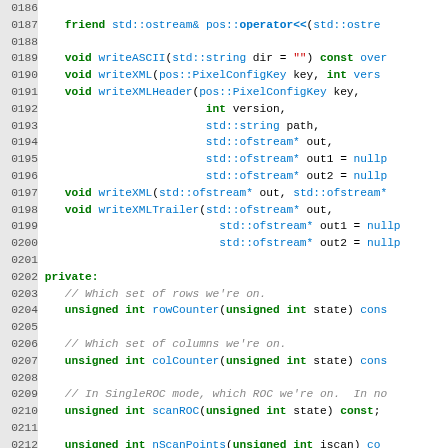[Figure (screenshot): Source code listing (C++) showing class member function declarations with line numbers 186-215. Functions include writeASCII, writeXML, writeXMLHeader, writeXMLTrailer, and private section with rowCounter, colCounter, scanROC, nScanPoints, scanCounter methods.]